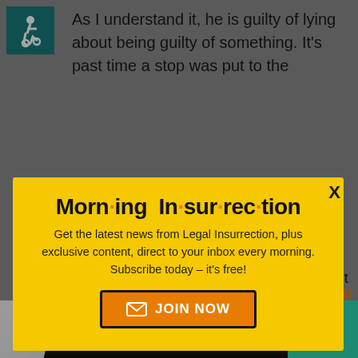[Figure (logo): Accessibility wheelchair icon in teal/green square]
As I understand it, he is guilty of lying about being guilty of something. It's past time a stop was put to the
[Figure (infographic): Morning Insurrection newsletter signup modal popup with yellow background, large bold title 'Morning Insurrection' with orange dots, body text 'Get the latest news from Legal Insurrection, plus exclusive content, direct to your inbox every morning. Subscribe today – it's free!', and an orange JOIN NOW button with envelope icon. An X close button appears in top right.]
n't supposed to be asking him about it, and
back to top
[Figure (infographic): THE PERSPECTIVE ad banner: SEE WHAT YOU'RE MISSING with READ MORE button on teal background]